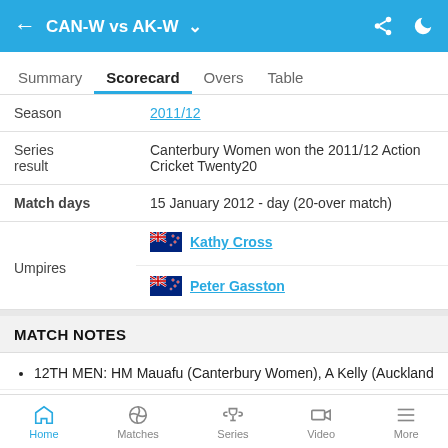CAN-W vs AK-W
| Field | Value |
| --- | --- |
| Season | 2011/12 |
| Series result | Canterbury Women won the 2011/12 Action Cricket Twenty20 |
| Match days | 15 January 2012 - day (20-over match) |
| Umpires | Kathy Cross |
| Umpires | Peter Gaston |
MATCH NOTES
12TH MEN: HM Mauafu (Canterbury Women), A Kelly (Auckland
Home  Matches  Series  Video  More